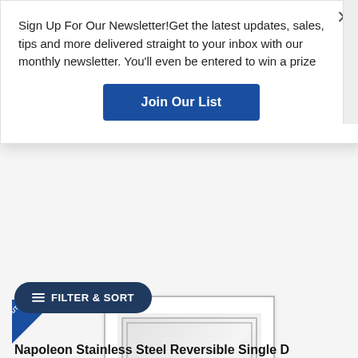Sign Up For Our Newsletter!Get the latest updates, sales, tips and more delivered straight to your inbox with our monthly newsletter. You'll even be entered to win a prize
[Figure (other): Blue 'Join Our List' button for newsletter signup]
[Figure (photo): Napoleon stainless steel reversible single door product image with out-of-stock ribbon badge]
[Figure (other): Dark blue rounded 'FILTER & SORT' button with filter icon]
Napoleon Stainless Steel Reversible Single D...